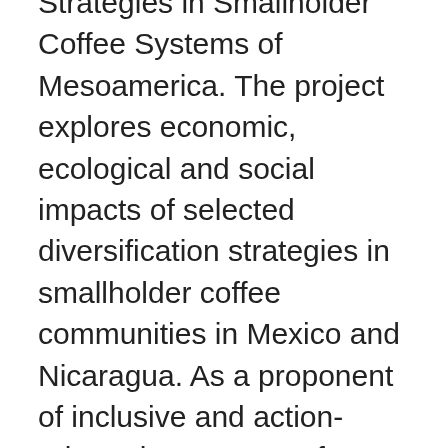Strategies in Smallholder Coffee Systems of Mesoamerica. The project explores economic, ecological and social impacts of selected diversification strategies in smallholder coffee communities in Mexico and Nicaragua. As a proponent of inclusive and action-oriented processes of knowledge building, she is applying the Participatory Action Research (PAR) approach to her research. Janica holds a BA and a MA in Latin American Studies, and an M.Soc.Sc. in Development Studies from the University of Helsinki. Her Master's thesis in Development Studies explored social and economic impacts of coffee rust on small-scale coffee farmers' livelihoods in Chiapas, Mexico. Between and during her studies, she has worked in several environmental, cultural and human rights NGOs in Finland and